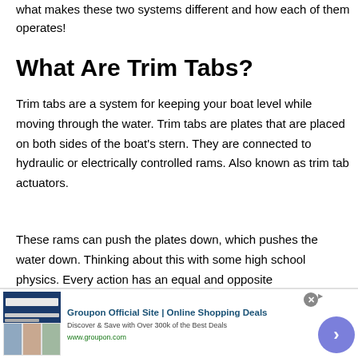what makes these two systems different and how each of them operates!
What Are Trim Tabs?
Trim tabs are a system for keeping your boat level while moving through the water. Trim tabs are plates that are placed on both sides of the boat's stern. They are connected to hydraulic or electrically controlled rams. Also known as trim tab actuators.
These rams can push the plates down, which pushes the water down. Thinking about this with some high school physics. Every action has an equal and opposite
[Figure (screenshot): Advertisement banner for Groupon Official Site | Online Shopping Deals with logo image, text, and navigation arrow button]